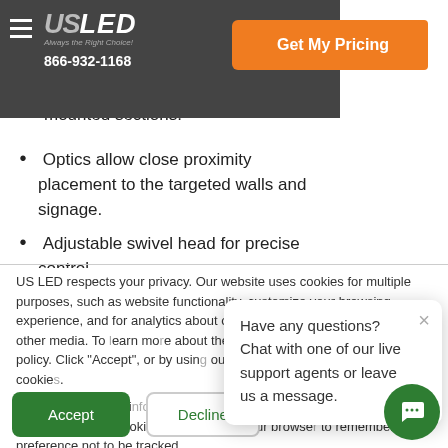US LED — Always the Right Choice! | 866-932-1168 | Get My Pricing
or embossed surfaces with 1 ATR or 1 f…tions…individual…ced or replaced without disturbing adjacent mounted sections.
Optics allow close proximity placement to the targeted walls and signage.
Adjustable swivel head for precise control
US LED respects your privacy. Our website uses cookies for multiple purposes, such as website functionality, customize your browsing experience, and for analytics about our visitors on this website and other media. To learn more about the cookies we use, see our privacy policy. Click "Accept", or by using our website, you agree to our use of cookies.
If you decline, your information won't be tracked when you visit this website. A single cookie will be used in your browser to remember your preference not to be tracked.
Have any questions? Chat with one of our live support agents or leave us a message.